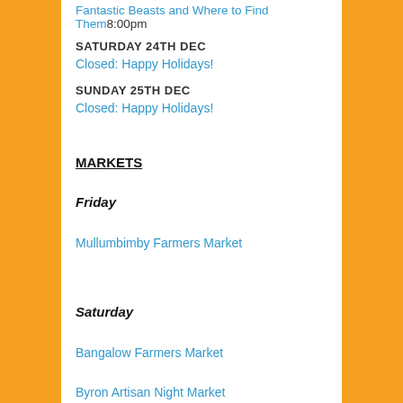Fantastic Beasts and Where to Find Them8:00pm
SATURDAY 24TH DEC
Closed: Happy Holidays!
SUNDAY 25TH DEC
Closed: Happy Holidays!
MARKETS
Friday
Mullumbimby Farmers Market
Saturday
Bangalow Farmers Market
Byron Artisan Night Market